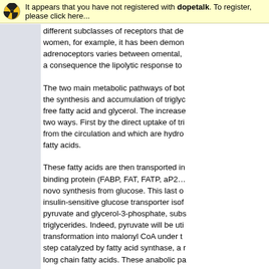It appears that you have not registered with dopetalk. To register, please click here...
different subclasses of receptors that de... women, for example, it has been demon... adrenoceptors varies between omental, a consequence the lipolytic response to
The two main metabolic pathways of bot... the synthesis and accumulation of triglyc... free fatty acid and glycerol. The increase... two ways. First by the direct uptake of tri... from the circulation and which are hydro... fatty acids.
These fatty acids are then transported in... binding protein (FABP, FAT, FATP, aP2... novo synthesis from glucose. This last o... insulin-sensitive glucose transporter isof... pyruvate and glycerol-3-phosphate, subs... triglycerides. Indeed, pyruvate will be uti... transformation into malonyl CoA under t... step catalyzed by fatty acid synthase, a ... long chain fatty acids. These anabolic pa
It is now recognized that lipolytic pathwa... main players: adipose triglyceride lipase ... regards of metabolism the main differenc